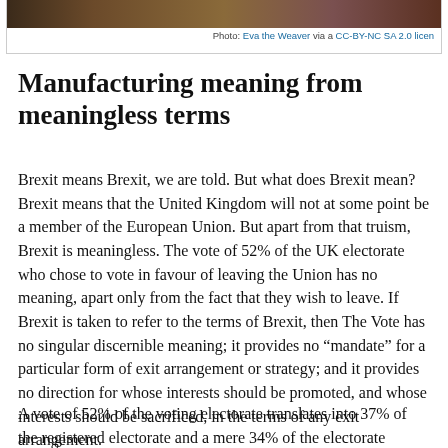[Figure (photo): Partial view of a photo strip at the top of the page, showing an outdoor scene.]
Photo: Eva the Weaver via a CC-BY-NC SA 2.0 licen…
Manufacturing meaning from meaningless terms
Brexit means Brexit, we are told. But what does Brexit mean? Brexit means that the United Kingdom will not at some point be a member of the European Union. But apart from that truism, Brexit is meaningless. The vote of 52% of the UK electorate who chose to vote in favour of leaving the Union has no meaning, apart only from the fact that they wish to leave. If Brexit is taken to refer to the terms of Brexit, then The Vote has no singular discernible meaning; it provides no “mandate” for a particular form of exit arrangement or strategy; and it provides no direction for whose interests should be promoted, and whose interests should be sacrificed, in the terms of any exit arrangement.
A vote of 52% of the voting electorate translates into 37% of the registered electorate and a mere 34% of the electorate